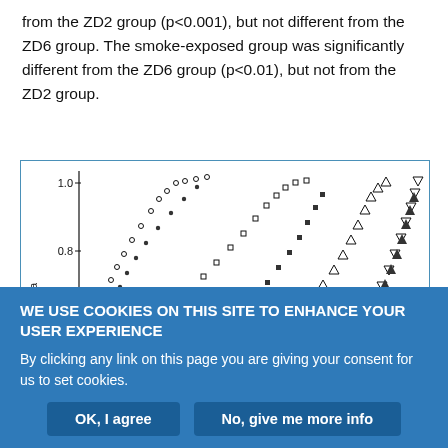from the ZD2 group (p<0.001), but not different from the ZD6 group. The smoke-exposed group was significantly different from the ZD6 group (p<0.01), but not from the ZD2 group.
[Figure (continuous-plot): Empirical cumulative distribution function plot showing multiple data series (open circles, open squares, open triangles, open inverted triangles, and filled versions) as 'Fraction of data' on y-axis (0.4 to 1.0 visible) versus an unlabeled x-axis. Multiple S-shaped cumulative curves are shown.]
WE USE COOKIES ON THIS SITE TO ENHANCE YOUR USER EXPERIENCE
By clicking any link on this page you are giving your consent for us to set cookies.